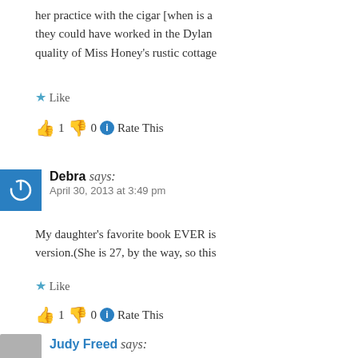her practice with the cigar [when is a they could have worked in the Dylan quality of Miss Honey's rustic cottage
★ Like
👍 1 👎 0 ℹ Rate This
Debra says: April 30, 2013 at 3:49 pm
My daughter's favorite book EVER is version.(She is 27, by the way, so this
★ Like
👍 1 👎 0 ℹ Rate This
Judy Freed says: